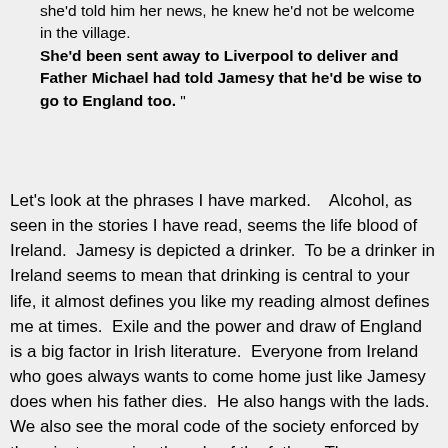she'd told him her news, he knew he'd not be welcome in the village. She'd been sent away to Liverpool to deliver and Father Michael had told Jamesy that he'd be wise to go to England too. "
Let's look at the phrases I have marked.   Alcohol, as seen in the stories I have read, seems the life blood of Ireland.  Jamesy is depicted a drinker.  To be a drinker in Ireland seems to mean that drinking is central to your life, it almost defines you like my reading almost defines me at times.  Exile and the power and draw of England is a big factor in Irish literature.  Everyone from Ireland who goes always wants to come home just like Jamesy does when his father dies.  He also hangs with the lads.  We also see the moral code of the society enforced by the priest, usurping the role of the father.  The domination of Irish society by the priest is seen by Kiberd and